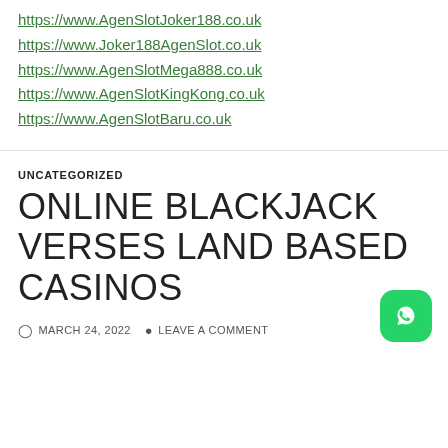https://www.AgenSlotJoker188.co.uk
https://www.Joker188AgenSlot.co.uk
https://www.AgenSlotMega888.co.uk
https://www.AgenSlotKingKong.co.uk
https://www.AgenSlotBaru.co.uk
UNCATEGORIZED
ONLINE BLACKJACK VERSES LAND BASED CASINOS
MARCH 24, 2022   LEAVE A COMMENT
[Figure (logo): WhatsApp icon button — green rounded square with white WhatsApp phone handset logo]